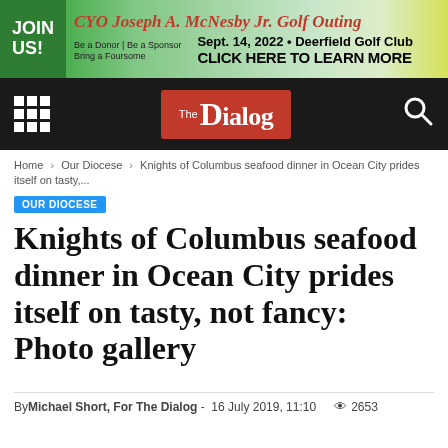[Figure (other): CYO Joseph A. McNesby Jr. Golf Outing advertisement banner. Green background with red script title text, golf imagery. Text: JOIN US! Be a Donor | Be a Sponsor, Bring a Foursome. Sept. 14, 2022 • Deerfield Golf Club. CLICK HERE TO LEARN MORE]
[Figure (other): The Dialog newspaper navigation bar with dark background, grid menu icon, The Dialog red logo, and search icon]
Home › Our Diocese › Knights of Columbus seafood dinner in Ocean City prides itself on tasty,...
OUR DIOCESE
Knights of Columbus seafood dinner in Ocean City prides itself on tasty, not fancy: Photo gallery
By Michael Short, For The Dialog - 16 July 2019, 11:10   👁 2653